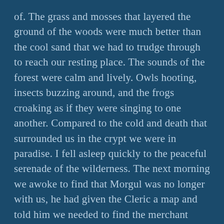of. The grass and mosses that layered the ground of the woods were much better than the cool sand that we had to trudge through to reach our resting place. The sounds of the forest were calm and lively. Owls hooting, insects buzzing around, and the frogs croaking as if they were singing to one another. Compared to the cold and death that surrounded us in the crypt we were in paradise. I fell asleep quickly to the peaceful serenade of the wilderness. The next morning we awoke to find that Morgul was no longer with us, he had given the Cleric a map and told him we needed to find the merchant village of Skrayhorn, where we are to head to the Crimson Blonde and find Ylloh. The beauty of the forest I had witnessed last night was infinitely greater now that the sun was up. Never could I have imagined such a sight could exist after the bleakness of the crypt.